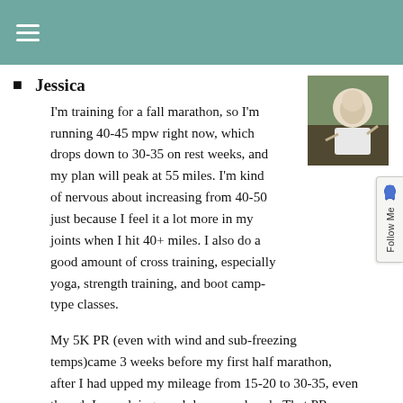≡
Jessica
I'm training for a fall marathon, so I'm running 40-45 mpw right now, which drops down to 30-35 on rest weeks, and my plan will peak at 55 miles. I'm kind of nervous about increasing from 40-50 just because I feel it a lot more in my joints when I hit 40+ miles. I also do a good amount of cross training, especially yoga, strength training, and boot camp-type classes.
[Figure (photo): Profile photo of Jessica, a woman in athletic wear outdoors]
My 5K PR (even with wind and sub-freezing temps)came 3 weeks before my first half marathon, after I had upped my mileage from 15-20 to 30-35, even though I was doing much less speedwork. That PR was from February, and I haven't raced one since, but I'd be interested to see how I do with my marathon training mileage!